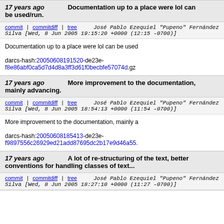17 years ago   Documentation up to a place were lol can be used/run.
commit | commitdiff | tree   José Pablo Ezequiel "Pupeno" Fernández Silva [Wed, 8 Jun 2005 19:15:20 +0000 (12:15 -0700)]
Documentation up to a place were lol can be used
darcs-hash:20050608191520-de23e-f8e86abf0ca5d7d4d8a3ff3d61f0becbfe57074d.gz
17 years ago   More improvement to the documentation, mainly advancing.
commit | commitdiff | tree   José Pablo Ezequiel "Pupeno" Fernández Silva [Wed, 8 Jun 2005 18:54:13 +0000 (11:54 -0700)]
More improvement to the documentation, mainly a
darcs-hash:20050608185413-de23e-f9897556c26929ed21add87695dc2b17e9d46a55.
17 years ago   A lot of re-structuring of the text, better conventions for handling classes of text...
commit | commitdiff | tree   José Pablo Ezequiel "Pupeno" Fernández Silva [Wed, 8 Jun 2005 18:27:10 +0000 (11:27 -0700)]